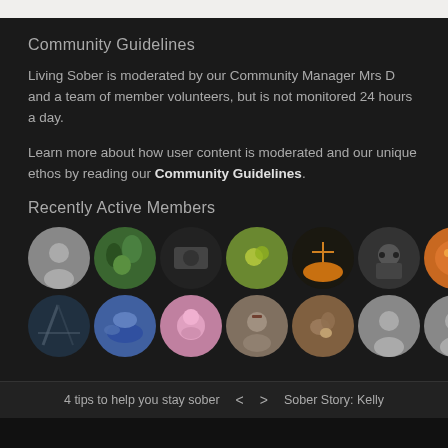Community Guidelines
Living Sober is moderated by our Community Manager Mrs D and a team of member volunteers, but is not monitored 24 hours a day.
Learn more about how user content is moderated and our unique ethos by reading our Community Guidelines.
Recently Active Members
[Figure (photo): Two rows of circular member avatar photos/icons showing recently active members of the community.]
4 tips to help you stay sober   <   >   Sober Story: Kelly